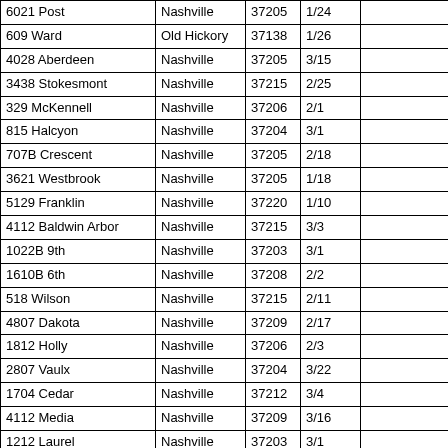| Address | City | ZIP | Date |  |
| --- | --- | --- | --- | --- |
| 6021 Post | Nashville | 37205 | 1/24 |  |
| 609 Ward | Old Hickory | 37138 | 1/26 |  |
| 4028 Aberdeen | Nashville | 37205 | 3/15 |  |
| 3438 Stokesmont | Nashville | 37215 | 2/25 |  |
| 329 McKennell | Nashville | 37206 | 2/1 |  |
| 815 Halcyon | Nashville | 37204 | 3/1 |  |
| 707B Crescent | Nashville | 37205 | 2/18 |  |
| 3621 Westbrook | Nashville | 37205 | 1/18 |  |
| 5129 Franklin | Nashville | 37220 | 1/10 |  |
| 4112 Baldwin Arbor | Nashville | 37215 | 3/3 |  |
| 1022B 9th | Nashville | 37203 | 3/1 |  |
| 1610B 6th | Nashville | 37208 | 2/2 |  |
| 518 Wilson | Nashville | 37215 | 2/11 |  |
| 4807 Dakota | Nashville | 37209 | 2/17 |  |
| 1812 Holly | Nashville | 37206 | 2/3 |  |
| 2807 Vaulx | Nashville | 37204 | 3/22 |  |
| 1704 Cedar | Nashville | 37212 | 3/4 |  |
| 4112 Media | Nashville | 37209 | 3/16 |  |
| 1212 Laurel | Nashville | 37203 | 3/1 |  |
| 229 Cherokee | Nashville | 37205 | 3/28 |  |
| 4164 Outer | Nashville | 37204 | 1/28 |  |
| 4709 Nevada | Nashville | 37209 | 3/15 |  |
| 1808 Blair | Nashville | 37212 | 2/24 |  |